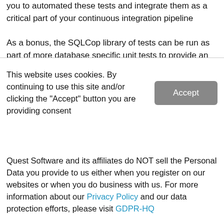you to automated these tests and integrate them as a critical part of your continuous integration pipeline
As a bonus, the SQLCop library of tests can be run as part of more database specific unit tests to provide an
This website uses cookies. By continuing to use this site and/or clicking the "Accept" button you are providing consent
Quest Software and its affiliates do NOT sell the Personal Data you provide to us either when you register on our websites or when you do business with us. For more information about our Privacy Policy and our data protection efforts, please visit GDPR-HQ